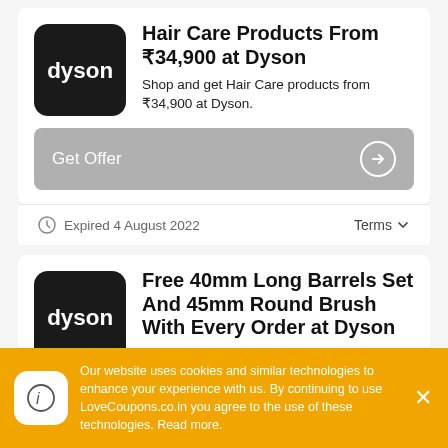Hair Care Products From ₹34,900 at Dyson
Shop and get Hair Care products from ₹34,900 at Dyson.
Get Offer
Expired 4 August 2022
Terms
Free 40mm Long Barrels Set And 45mm Round Brush With Every Order at Dyson
Our website uses cookies and similar technologies to enhance your experience with us. By continuing to use LoveCoupons.co.in you agree to the use of these technologies. Read more.